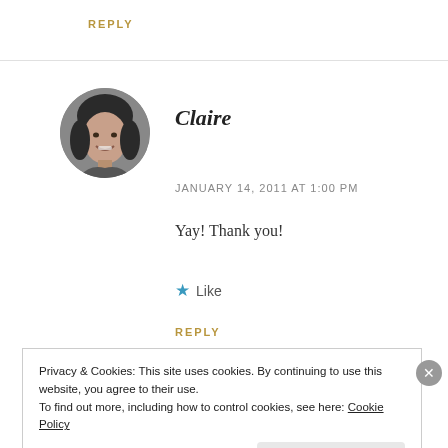REPLY
[Figure (photo): Circular avatar photo of a smiling woman with dark hair, black and white photo]
Claire
JANUARY 14, 2011 AT 1:00 PM
Yay! Thank you!
★ Like
REPLY
Privacy & Cookies: This site uses cookies. By continuing to use this website, you agree to their use.
To find out more, including how to control cookies, see here: Cookie Policy
Close and accept